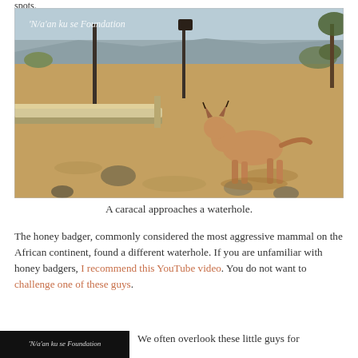spots.
[Figure (photo): A caracal (medium wild cat with tufted ears) approaches a waterhole in a dry African landscape. A waterhole trough is visible on the left, and rocky cliffs are visible in the background. A watermark reads 'N/a'an ku se Foundation'.]
A caracal approaches a waterhole.
The honey badger, commonly considered the most aggressive mammal on the African continent, found a different waterhole. If you are unfamiliar with honey badgers, I recommend this YouTube video. You do not want to challenge one of these guys.
[Figure (photo): Thumbnail image of a video with a dark background and the text 'N/a'an ku se Foundation'.]
We often overlook these little guys for